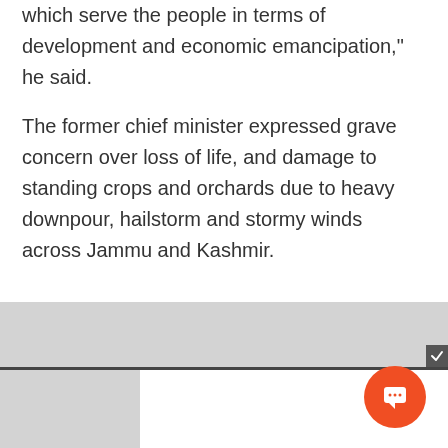which serve the people in terms of development and economic emancipation," he said.
The former chief minister expressed grave concern over loss of life, and damage to standing crops and orchards due to heavy downpour, hailstorm and stormy winds across Jammu and Kashmir.
[Figure (other): Gray placeholder/advertisement area with an orange circular chat button in the bottom right, a dark horizontal divider bar, and a white strip at the bottom right.]